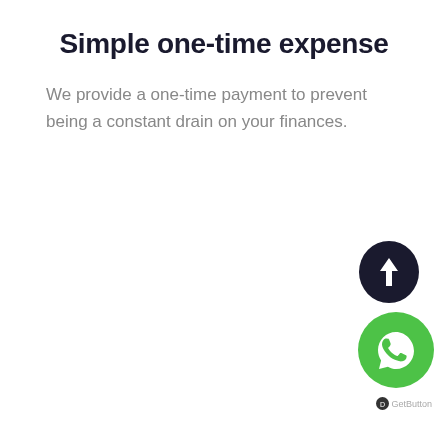Simple one-time expense
We provide a one-time payment to prevent being a constant drain on your finances.
[Figure (other): Dark navy circular scroll-to-top button with white upward arrow icon]
[Figure (other): Green circular WhatsApp button with white WhatsApp phone/chat icon]
GetButton